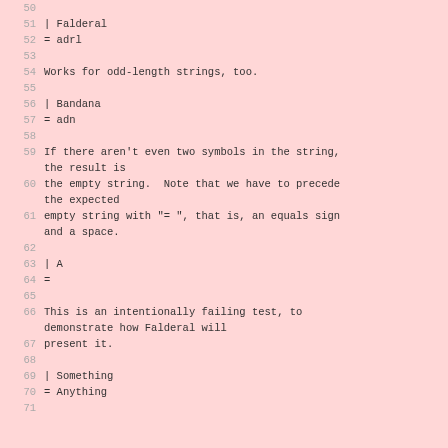Line 50: (blank)
Line 51: | Falderal
Line 52: = adrl
Line 53: (blank)
Line 54: Works for odd-length strings, too.
Line 55: (blank)
Line 56: | Bandana
Line 57: = adn
Line 58: (blank)
Line 59: If there aren't even two symbols in the string, the result is
Line 60: the empty string.  Note that we have to precede the expected
Line 61: empty string with "= ", that is, an equals sign and a space.
Line 62: (blank)
Line 63: | A
Line 64: =
Line 65: (blank)
Line 66: This is an intentionally failing test, to demonstrate how Falderal will
Line 67: present it.
Line 68: (blank)
Line 69: | Something
Line 70: = Anything
Line 71: (blank)